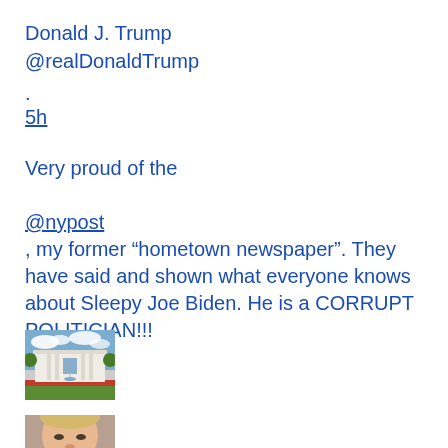Donald J. Trump
@realDonaldTrump
.
5h
Very proud of the

@nypost
, my former “hometown newspaper”. They have said and shown what everyone knows about Sleepy Joe Biden. He is a CORRUPT POLITICIAN!!!
[Figure (photo): White House building with fountain and red flowers in foreground, blue sky with clouds]
[Figure (photo): Partial portrait photo of a person's face, cropped at bottom of page]